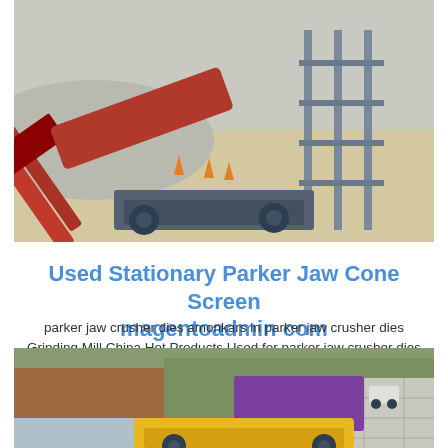[Figure (photo): Construction/mining site with red conveyor belt machinery, orange safety cones, and metal frame structure on sandy ground]
Used Stationary Parker Jaw Cone Screen magentoadmin com
parker jaw crusher dies amonkars in parker jaw crusher dies Grinding Mill China Hot Products Used for parker jaw crusher dies used stationary parker jaw cone screen Crusher
[Figure (photo): Mining quarry with purple/violet hopper and yellow machinery against rocky hillside]